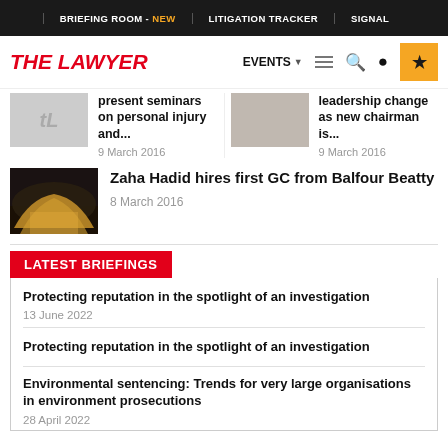BRIEFING ROOM - NEW | LITIGATION TRACKER | SIGNAL
THE LAWYER | EVENTS
present seminars on personal injury and...
9 March 2016
leadership change as new chairman is...
9 March 2016
Zaha Hadid hires first GC from Balfour Beatty
8 March 2016
LATEST BRIEFINGS
Protecting reputation in the spotlight of an investigation
13 June 2022
Protecting reputation in the spotlight of an investigation
Environmental sentencing: Trends for very large organisations in environment prosecutions
28 April 2022